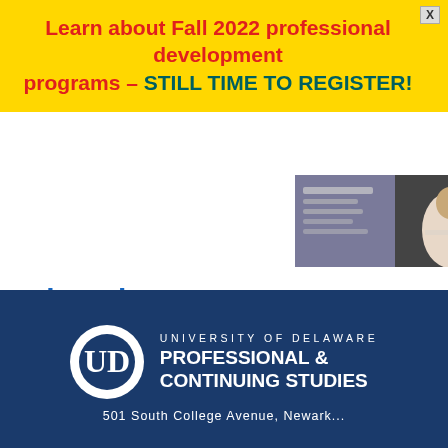[Figure (infographic): Yellow banner advertisement for Fall 2022 professional development programs with X close button]
Learn about Fall 2022 professional development programs – STILL TIME TO REGISTER!
[Figure (photo): Small thumbnail image showing a person and promotional content]
Live Chat
[Figure (other): Green rounded button labeled 'Live Chat Now' with 'Help Desk Software' text below]
[Figure (logo): University of Delaware Professional & Continuing Studies logo on dark blue background]
501 South College Avenue, Newark...